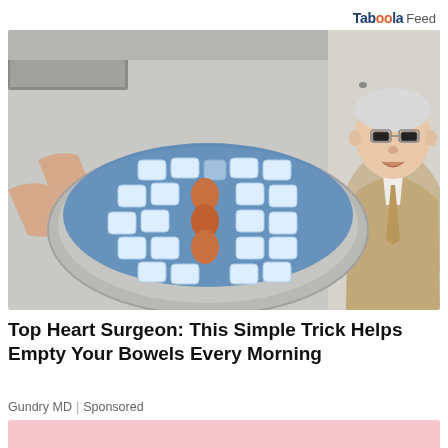Taboola Feed
[Figure (photo): A hand holding a blue plastic bag filled with rectangular ice packs arranged in a circular pattern on a round metal tray, with three brown eggs placed in the center. An older man in a beige suit and glasses is in the background pointing at the eggs with a surprised expression.]
Top Heart Surgeon: This Simple Trick Helps Empty Your Bowels Every Morning
Gundry MD | Sponsored
[Figure (other): Pink/light red colored banner or card at the bottom of the page, partially visible.]